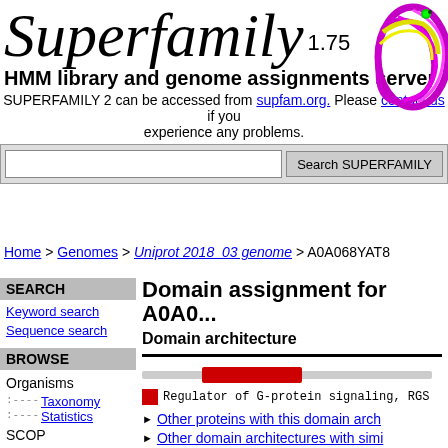Superfamily 1.75
[Figure (illustration): Protein structure illustration showing colorful ribbons (purple, yellow, magenta) in upper right corner]
HMM library and genome assignments server
SUPERFAMILY 2 can be accessed from supfam.org. Please contact us if you experience any problems.
Search SUPERFAMILY (search bar)
Home > Genomes > Uniprot 2018_03 genome > A0A068YAT8
SEARCH
Keyword search
Sequence search
BROWSE
Organisms
Taxonomy
Statistics
SCOP
Hierarchy
Ontologies
GO
Domain assignment for A0A0...
Domain architecture
Regulator of G-protein signaling, RGS
Other proteins with this domain arch
Other domain architectures with simi
See the phylogenetic distribution for